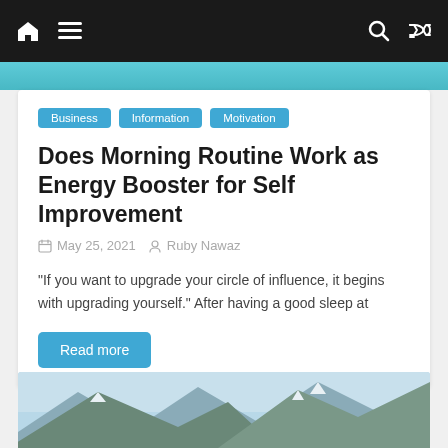Navigation bar with home, menu, search, and shuffle icons
Business
Information
Motivation
Does Morning Routine Work as Energy Booster for Self Improvement
May 25, 2021  Ruby Nawaz
“If you want to upgrade your circle of influence, it begins with upgrading yourself.” After having a good sleep at
Read more
[Figure (photo): Mountain landscape photo with rocky peaks, snow, blue sky]